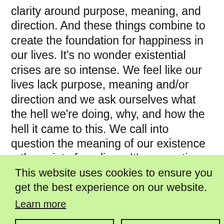clarity around purpose, meaning, and direction. And these things combine to create the foundation for happiness in our lives. It's no wonder existential crises are so intense. We feel like our lives lack purpose, meaning and/or direction and we ask ourselves what the hell we're doing, why, and how the hell it came to this. We call into question the meaning of our existence – the point of our lives. It's a question so loaded and challenging, our ego wants to avoid it at all costs.
This website uses cookies to ensure you get the best experience on our website. Learn more
things we want – even the things we think we